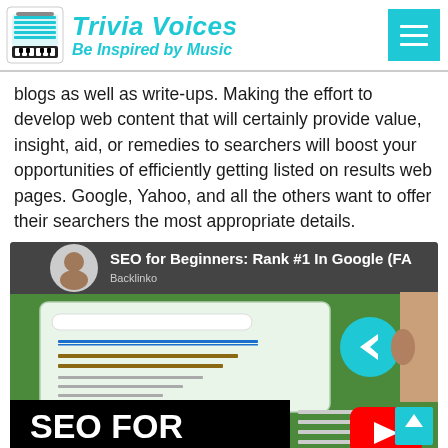Trivia Voices — Be Inspired by Music
blogs as well as write-ups. Making the effort to develop web content that will certainly provide value, insight, aid, or remedies to searchers will boost your opportunities of efficiently getting listed on results web pages. Google, Yahoo, and all the others want to offer their searchers the most appropriate details.
[Figure (screenshot): YouTube video thumbnail for 'SEO for Beginners: Rank #1 In Google' showing a person, a browser/search interface mockup with a blue underlined link and brown text lines, a teal back-arrow circle button, another person's ear visible on right side, and a large black banner at bottom reading 'SEO FOR' with a red YouTube play button icon.]